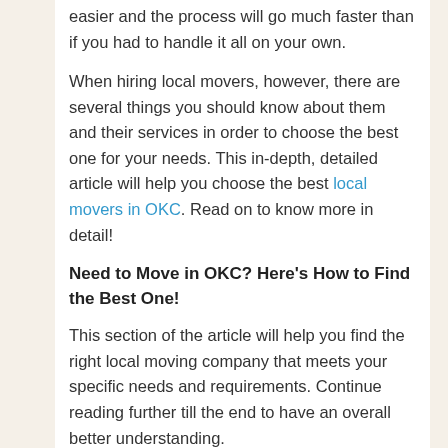easier and the process will go much faster than if you had to handle it all on your own.
When hiring local movers, however, there are several things you should know about them and their services in order to choose the best one for your needs. This in-depth, detailed article will help you choose the best local movers in OKC. Read on to know more in detail!
Need to Move in OKC? Here's How to Find the Best One!
This section of the article will help you find the right local moving company that meets your specific needs and requirements. Continue reading further till the end to have an overall better understanding.
Check The Mover's Licence & Bonding